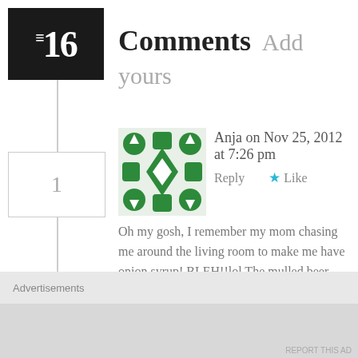16 Comments Add yours
Anja on Nov 25, 2012 at 7:26 pm
Reply  ★ Like
Oh my gosh, I remember my mom chasing me around the living room to make me have onion syrup! BLEH!!lol The mulled beer sounds way better, can't wait to try:)
Magda on Dec 1, 2012 at 7:37 pm  Reply  ★ Like
Advertisements